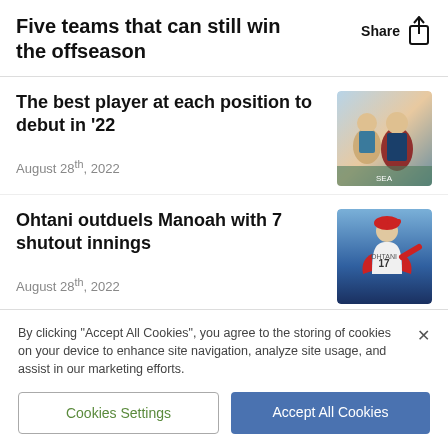Five teams that can still win the offseason
The best player at each position to debut in '22
August 28th, 2022
Ohtani outduels Manoah with 7 shutout innings
August 28th, 2022
By clicking "Accept All Cookies", you agree to the storing of cookies on your device to enhance site navigation, analyze site usage, and assist in our marketing efforts.
Cookies Settings
Accept All Cookies